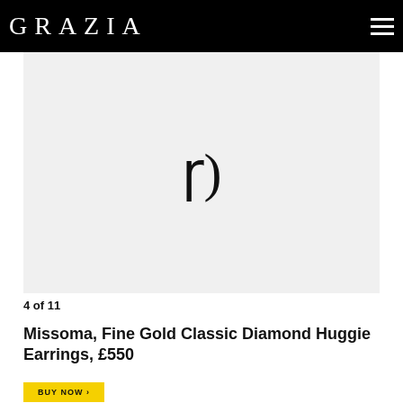GRAZIA
[Figure (screenshot): Loading spinner / placeholder image area with light gray background and a curved loading indicator symbol in the center]
4 of 11
Missoma, Fine Gold Classic Diamond Huggie Earrings, £550
BUY NOW →